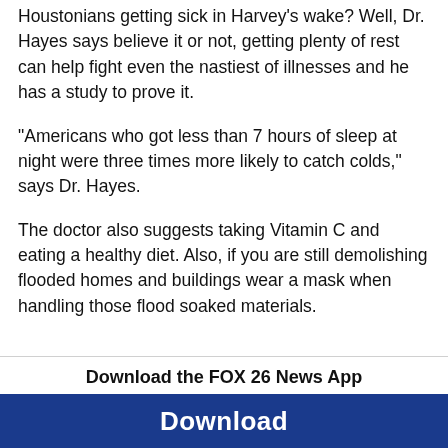Houstonians getting sick in Harvey's wake?  Well, Dr. Hayes says believe it or not, getting plenty of rest can help fight even the nastiest of illnesses and he has a study to prove it.
"Americans who got less than 7 hours of sleep at night were three times more likely to catch colds," says Dr. Hayes.
The doctor also suggests taking Vitamin C and eating a healthy diet.  Also, if you are still demolishing flooded homes and buildings wear a mask when handling those flood soaked materials.
Download the FOX 26 News App
Download